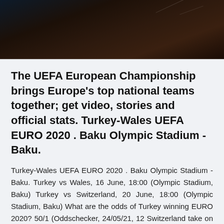[Figure (photo): Dark landscape photo showing mountains at night with a dark sky, cropped at top of page]
The UEFA European Championship brings Europe's top national teams together; get video, stories and official stats. Turkey-Wales UEFA EURO 2020 . Baku Olympic Stadium - Baku.
Turkey-Wales UEFA EURO 2020 . Baku Olympic Stadium - Baku. Turkey vs Wales, 16 June, 18:00 (Olympic Stadium, Baku) Turkey vs Switzerland, 20 June, 18:00 (Olympic Stadium, Baku) What are the odds of Turkey winning EURO 2020? 50/1 (Oddschecker, 24/05/21, 12 Switzerland take on Wales in UEFA EURO 2020 Group A